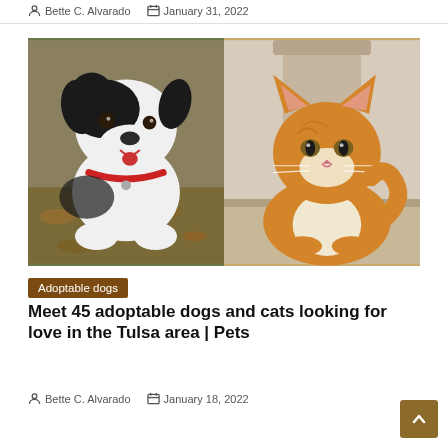Bette C. Alvarado  January 31, 2022
[Figure (photo): Side-by-side photos: left shows a black and white dog with red collar looking at camera outdoors among autumn leaves, right shows an orange/ginger fluffy cat resting on a shelf indoors.]
Adoptable dogs
Meet 45 adoptable dogs and cats looking for love in the Tulsa area | Pets
Bette C. Alvarado  January 18, 2022